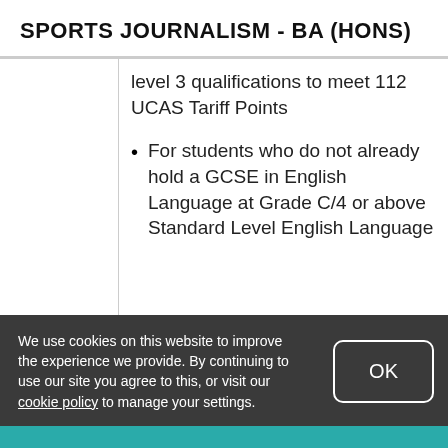SPORTS JOURNALISM - BA (HONS)
level 3 qualifications to meet 112 UCAS Tariff Points
For students who do not already hold a GCSE in English Language at Grade C/4 or above Standard Level English Language
We use cookies on this website to improve the experience we provide. By continuing to use our site you agree to this, or visit our cookie policy to manage your settings.